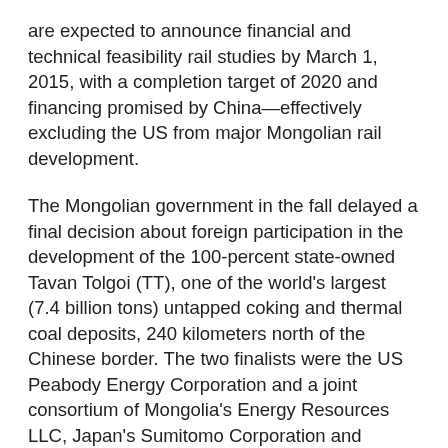are expected to announce financial and technical feasibility rail studies by March 1, 2015, with a completion target of 2020 and financing promised by China—effectively excluding the US from major Mongolian rail development.
The Mongolian government in the fall delayed a final decision about foreign participation in the development of the 100-percent state-owned Tavan Tolgoi (TT), one of the world's largest (7.4 billion tons) untapped coking and thermal coal deposits, 240 kilometers north of the Chinese border. The two finalists were the US Peabody Energy Corporation and a joint consortium of Mongolia's Energy Resources LLC, Japan's Sumitomo Corporation and China's Shenhua Energy Co., Ltd. However, as soon as Mongolia was selected for the MCC Phase II compact, Ulaanbaatar announced it had accepted the Mongolian-Japanese-Chinese consortium bid (Infomongolia.com, December 23, 2014)—dashing hopes for a sizable infusion of US FDI. Mongolian authorities explained that the winning consortium had agreed to invest, without strings, around $4 billion; promised to assume the remaining $160